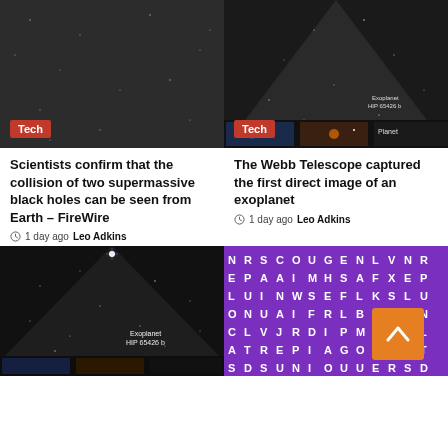[Figure (photo): Dark space/astronomy image with Tech tag badge]
[Figure (photo): Webb Telescope image of exoplanet HIP 65426 b with insets, Tech tag badge]
Scientists confirm that the collision of two supermassive black holes can be seen from Earth – FireWire
1 day ago  Leo Adkins
The Webb Telescope captured the first direct image of an exoplanet
1 day ago  Leo Adkins
[Figure (photo): Star field image with Exoplanet HIP 65426 b label and inset panels]
[Figure (infographic): Word search puzzle grid on purple background with orange scroll-to-top button]